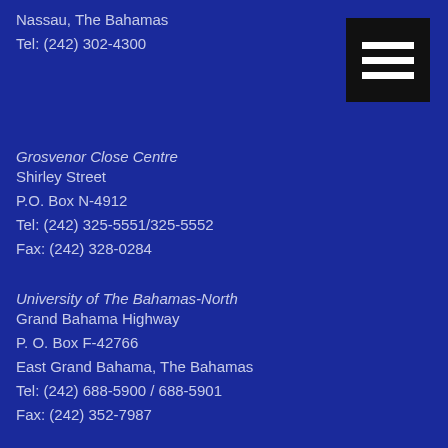Nassau, The Bahamas
Tel: (242) 302-4300
[Figure (other): Hamburger menu icon — three white horizontal bars on black background]
Grosvenor Close Centre
Shirley Street
P.O. Box N-4912
Tel: (242) 325-5551/325-5552
Fax: (242) 328-0284
University of The Bahamas-North
Grand Bahama Highway
P. O. Box F-42766
East Grand Bahama, The Bahamas
Tel: (242) 688-5900 / 688-5901
Fax: (242) 352-7987